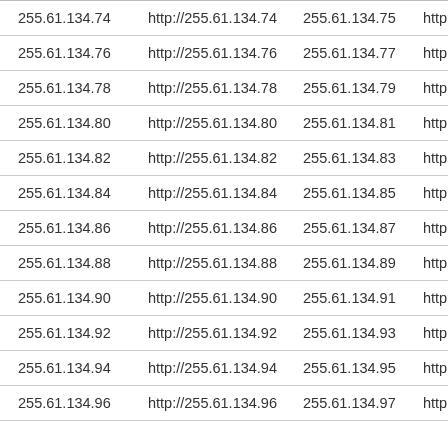| 255.61.134.74 | http://255.61.134.74 | 255.61.134.75 | http:// |
| 255.61.134.76 | http://255.61.134.76 | 255.61.134.77 | http:// |
| 255.61.134.78 | http://255.61.134.78 | 255.61.134.79 | http:// |
| 255.61.134.80 | http://255.61.134.80 | 255.61.134.81 | http:// |
| 255.61.134.82 | http://255.61.134.82 | 255.61.134.83 | http:// |
| 255.61.134.84 | http://255.61.134.84 | 255.61.134.85 | http:// |
| 255.61.134.86 | http://255.61.134.86 | 255.61.134.87 | http:// |
| 255.61.134.88 | http://255.61.134.88 | 255.61.134.89 | http:// |
| 255.61.134.90 | http://255.61.134.90 | 255.61.134.91 | http:// |
| 255.61.134.92 | http://255.61.134.92 | 255.61.134.93 | http:// |
| 255.61.134.94 | http://255.61.134.94 | 255.61.134.95 | http:// |
| 255.61.134.96 | http://255.61.134.96 | 255.61.134.97 | http:// |